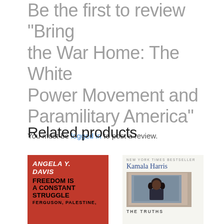Be the first to review "Bring the War Home: The White Power Movement and Paramilitary America"
You must be logged in to post a review.
Related products
[Figure (photo): Book cover: Angela Y. Davis - Freedom Is a Constant Struggle: Ferguson, Palestine, (red background with white and black text)]
[Figure (photo): Book cover: Kamala Harris - The Truths (New York Times Bestseller, with photo of young child, light beige background)]